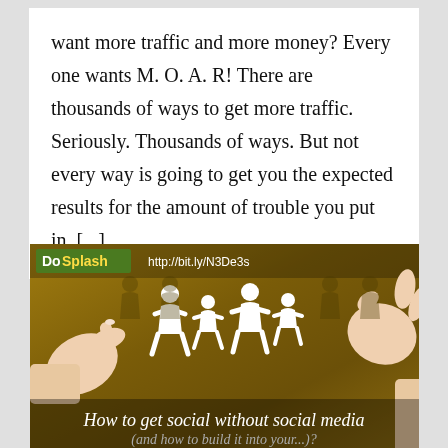want more traffic and more money? Every one wants M. O. A. R! There are thousands of ways to get more traffic. Seriously. Thousands of ways. But not every way is going to get you the expected results for the amount of trouble you put in. [...]
[Figure (illustration): Promotional image with golden/brown background showing two hands holding a paper chain of human figure silhouettes. Top bar shows 'DoSplash' logo on left and 'http://bit.ly/N3De3s' URL on right. Bottom text reads 'How to get social without social media' with partially visible second line.]